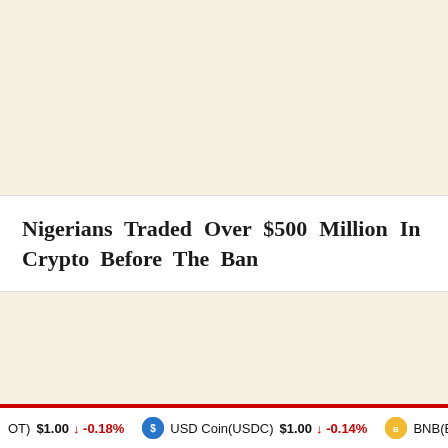Nigerians Traded Over $500 Million In Crypto Before The Ban
(OT) $1.00 ↓ -0.18% | USD Coin(USDC) $1.00 ↓ -0.14% | BNB(B...